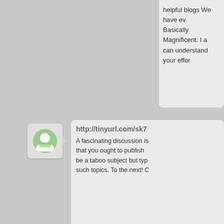helpful blogs We have ev Basically Magnificent. I a can understand your effor
[Figure (illustration): Green avatar icon in a rounded square box]
http://tinyurl.com/sk7
A fascinating discussion is that you ought to publish be a taboo subject but typ such topics. To the next! C
[Figure (illustration): Green avatar icon in a rounded square box]
quest bars cheap cou
Hey I know this is off topi knew of any widgets I cou automatically tweet my ne looking for a plug-in like th hoping maybe you would something like this. Plea anything. I truly enjoy rea